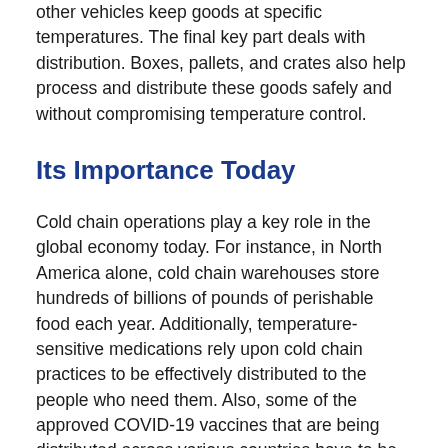other vehicles keep goods at specific temperatures. The final key part deals with distribution. Boxes, pallets, and crates also help process and distribute these goods safely and without compromising temperature control.
Its Importance Today
Cold chain operations play a key role in the global economy today. For instance, in North America alone, cold chain warehouses store hundreds of billions of pounds of perishable food each year. Additionally, temperature-sensitive medications rely upon cold chain practices to be effectively distributed to the people who need them. Also, some of the approved COVID-19 vaccines that are being distributed across various countries have to be kept in specific temperature ranges to maintain their effectiveness. The cold chain will allow global vaccination distribution